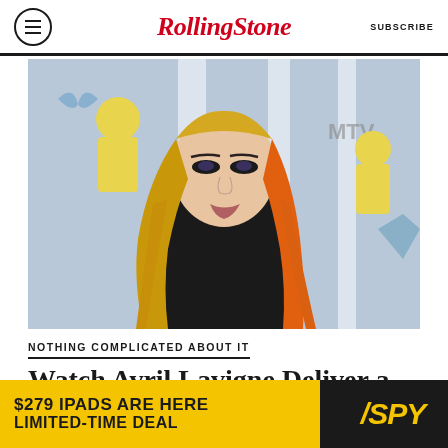Rolling Stone  SUBSCRIBE
[Figure (photo): Avril Lavigne at MTV VMAs red carpet event, wearing black top with long blonde and orange hair, in front of a light blue and white striped backdrop with yellow and blue decorative elements]
NOTHING COMPLICATED ABOUT IT
Watch Avril Lavigne Deliver a
[Figure (other): Advertisement banner: $279 IPADS ARE HERE LIMITED-TIME DEAL with SPY logo on black background, yellow background]